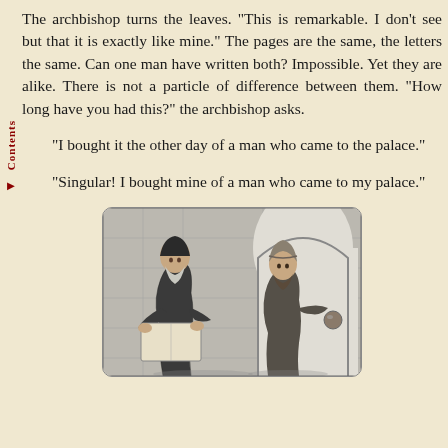The archbishop turns the leaves. "This is remarkable. I don't see but that it is exactly like mine." The pages are the same, the letters the same. Can one man have written both? Impossible. Yet they are alike. There is not a particle of difference between them. "How long have you had this?" the archbishop asks.
"I bought it the other day of a man who came to the palace."
"Singular! I bought mine of a man who came to my palace."
[Figure (illustration): Black and white engraving showing two bearded men, one elderly in robes examining something, one younger in a turban, standing in an arched doorway or corridor.]